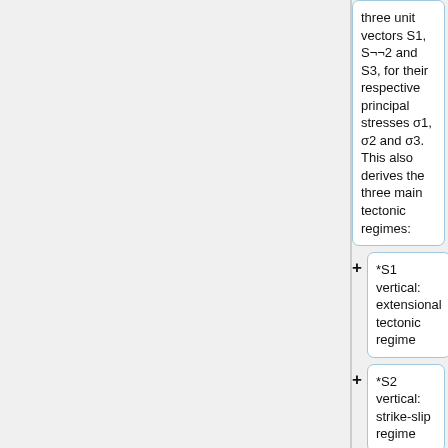three unit vectors S1, S2 and S3, for their respective principal stresses σ1, σ2 and σ3. This also derives the three main tectonic regimes:
*S1 vertical: extensional tectonic regime
*S2 vertical: strike-slip regime
*S3 vertical: compressional regime
The basics of faulting and stress geometry assumes that the body of rock is homogeneous and isotropic, and that the...